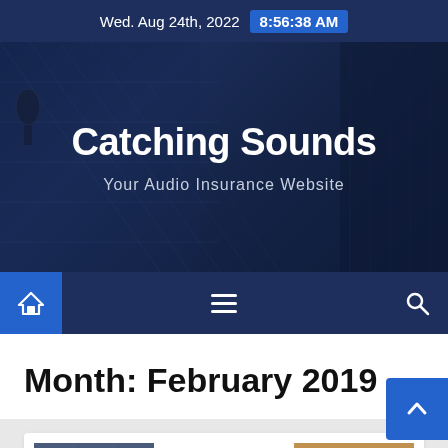Wed. Aug 24th, 2022  8:56:38 AM
[Figure (photo): Hero banner with dark blue city skyscraper building facade in background]
Catching Sounds
Your Audio Insurance Website
[Figure (infographic): Navigation bar with home icon, hamburger menu, and search icon on dark navy background]
Month: February 2019
[Figure (photo): Article card with two thumbnail images visible at bottom of page]